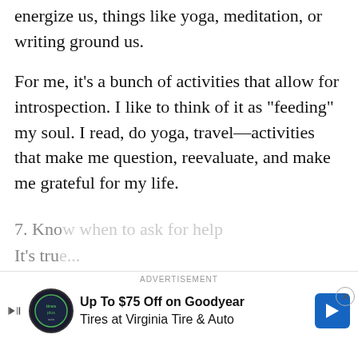energize us, things like yoga, meditation, or writing ground us.
For me, it’s a bunch of activities that allow for introspection. I like to think of it as “feeding” my soul. I read, do yoga, travel—activities that make me question, reevaluate, and make me grateful for my life.
It doesn’t matter what it is. It just has to be an activity that lets you breathe and be alone with yourself and your thoughts.
7. Know when to ask for help
It’s tru...
[Figure (other): Advertisement banner: Up To $75 Off on Goodyear Tires at Virginia Tire & Auto, with Tires Plus logo and blue arrow icon]